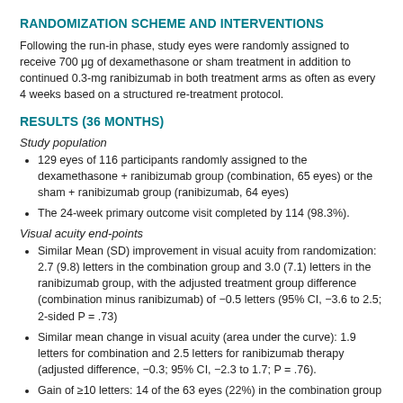RANDOMIZATION SCHEME AND INTERVENTIONS
Following the run-in phase, study eyes were randomly assigned to receive 700 μg of dexamethasone or sham treatment in addition to continued 0.3-mg ranibizumab in both treatment arms as often as every 4 weeks based on a structured re-treatment protocol.
RESULTS (36 MONTHS)
Study population
129 eyes of 116 participants randomly assigned to the dexamethasone + ranibizumab group (combination, 65 eyes) or the sham + ranibizumab group (ranibizumab, 64 eyes)
The 24-week primary outcome visit completed by 114 (98.3%).
Visual acuity end-points
Similar Mean (SD) improvement in visual acuity from randomization: 2.7 (9.8) letters in the combination group and 3.0 (7.1) letters in the ranibizumab group, with the adjusted treatment group difference (combination minus ranibizumab) of −0.5 letters (95% CI, −3.6 to 2.5; 2-sided P = .73)
Similar mean change in visual acuity (area under the curve): 1.9 letters for combination and 2.5 letters for ranibizumab therapy (adjusted difference, −0.3; 95% CI, −2.3 to 1.7; P = .76).
Gain of ≥10 letters: 14 of the 63 eyes (22%) in the combination group